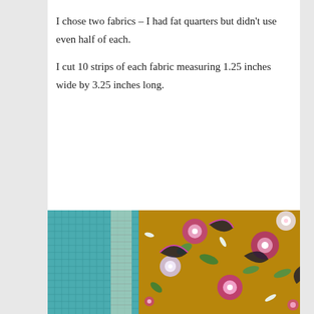I chose two fabrics – I had fat quarters but didn't use even half of each.
I cut 10 strips of each fabric measuring 1.25 inches wide by 3.25 inches long.
[Figure (photo): Two pieces of fabric on a cutting mat. One fabric is a blue/teal quilting ruler/mat, and the other is a golden/yellow fabric with a Japanese floral pattern featuring pink, purple, and white flowers with dark decorative bird or crane motifs and green leaves.]